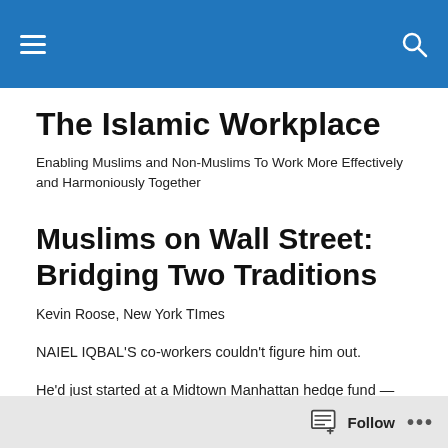The Islamic Workplace — navigation bar
The Islamic Workplace
Enabling Muslims and Non-Muslims To Work More Effectively and Harmoniously Together
Muslims on Wall Street: Bridging Two Traditions
Kevin Roose, New York TImes
NAIEL IQBAL'S co-workers couldn't figure him out.
He'd just started at a Midtown Manhattan hedge fund —
Follow ...